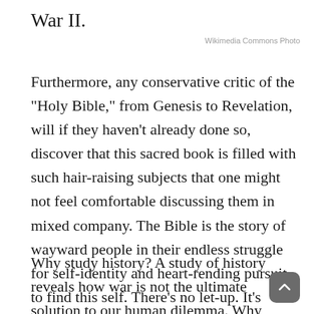War II.
Wikimedia Commons Photo
Furthermore, any conservative critic of the "Holy Bible," from Genesis to Revelation, will if they haven't already done so, discover that this sacred book is filled with such hair-raising subjects that one might not feel comfortable discussing them in mixed company. The Bible is the story of wayward people in their endless struggle for self-identity and heart-rending pursuit to find this self. There's no let-up. It's uphill all the way.
Why study history? A study of history reveals how war is not the ultimate solution to our human dilemma. Why study history? The absence of such a